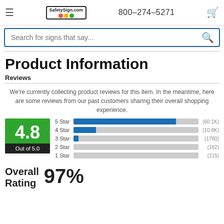SafetySign.com  800-274-5271
Product Information
Reviews
We're currently collecting product reviews for this item. In the meantime, here are some reviews from our past customers sharing their overall shopping experience.
[Figure (bar-chart): 4.8 Out of 5.0]
Overall Rating  97%